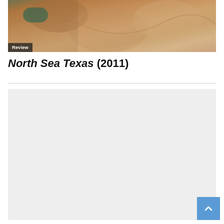[Figure (photo): Film still or promotional image showing figures in close contact, with warm skin tones and a teal/green element; has a 'Review' badge overlay in the lower left corner]
North Sea Texas (2011)
[Figure (other): Gray placeholder/advertisement block below the title and divider line]
[Figure (other): Blue back-to-top button with upward chevron arrow in the lower right corner]